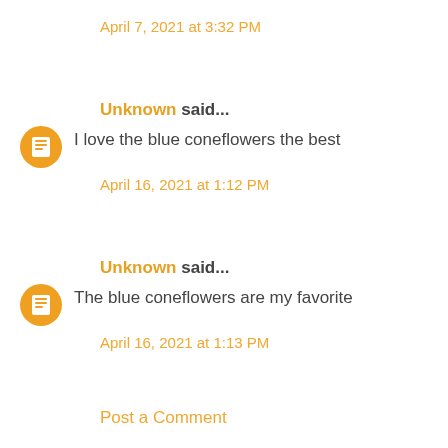April 7, 2021 at 3:32 PM
Unknown said...
I love the blue coneflowers the best
April 16, 2021 at 1:12 PM
Unknown said...
The blue coneflowers are my favorite
April 16, 2021 at 1:13 PM
Post a Comment